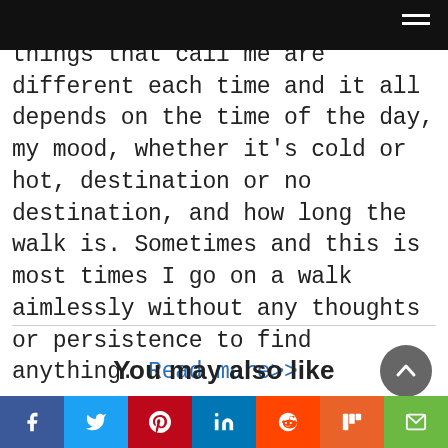things that call me are different each time and it all depends on the time of the day, my mood, whether it’s cold or hot, destination or no destination, and how long the walk is. Sometimes and this is most times I go on a walk aimlessly without any thoughts or persistence to find anything. Read more>>
You may also like